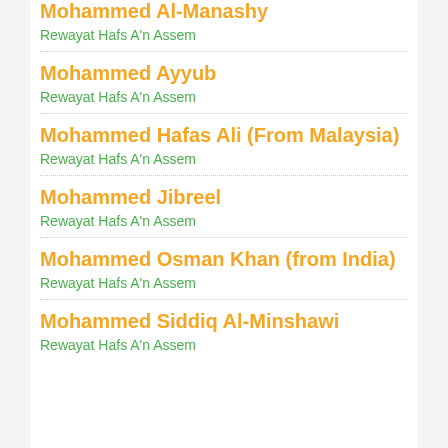Mohammed Al-Manashy
Rewayat Hafs A'n Assem
Mohammed Ayyub
Rewayat Hafs A'n Assem
Mohammed Hafas Ali (From Malaysia)
Rewayat Hafs A'n Assem
Mohammed Jibreel
Rewayat Hafs A'n Assem
Mohammed Osman Khan (from India)
Rewayat Hafs A'n Assem
Mohammed Siddiq Al-Minshawi
Rewayat Hafs A'n Assem